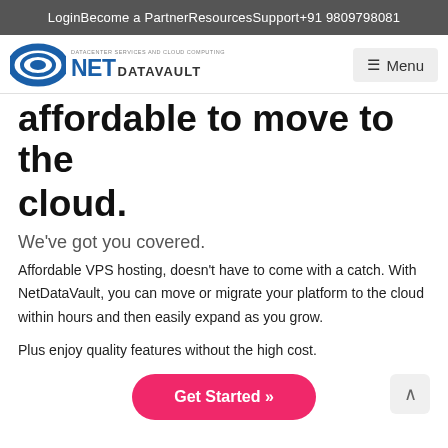LoginBecome a PartnerResourcesSupport+91 9809798081
[Figure (logo): NetDataVault logo with blue oval graphic, 'NET' in blue bold letters, 'DATAVAULT' in dark letters, and tagline 'DATACENTER SERVICES AND CLOUD COMPUTING']
affordable to move to the cloud.
We've got you covered.
Affordable VPS hosting, doesn't have to come with a catch. With NetDataVault, you can move or migrate your platform to the cloud within hours and then easily expand as you grow.
Plus enjoy quality features without the high cost.
[Figure (other): Get Started button with pink/red background and white text, double right arrows]